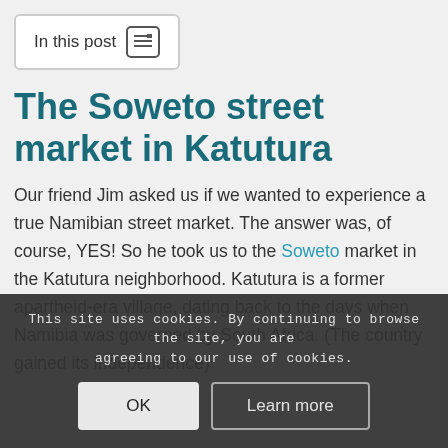In this post
The Soweto street market in Katutura
Our friend Jim asked us if we wanted to experience a true Namibian street market. The answer was, of course, YES! So he took us to the Soweto market in the Katutura neighborhood. Katutura is a former apartheid-era village, dating back to the days when Namibia was governed by South Africa. (The country gained its independence)
This site uses cookies. By continuing to browse the site, you are agreeing to our use of cookies.